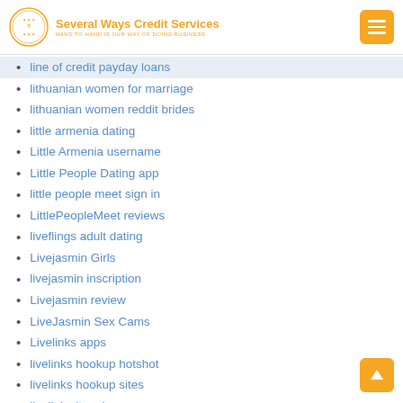Several Ways Credit Services — HAND TO HAND IS OUR WAY OF DOING BUSINESS
line of credit payday loans
lithuanian women for marriage
lithuanian women reddit brides
little armenia dating
Little Armenia username
Little People Dating app
little people meet sign in
LittlePeopleMeet reviews
liveflings adult dating
Livejasmin Girls
livejasmin inscription
Livejasmin review
LiveJasmin Sex Cams
Livelinks apps
livelinks hookup hotshot
livelinks hookup sites
livelinks it review
loan by phone pay day loan
loan by phone payday loan near me